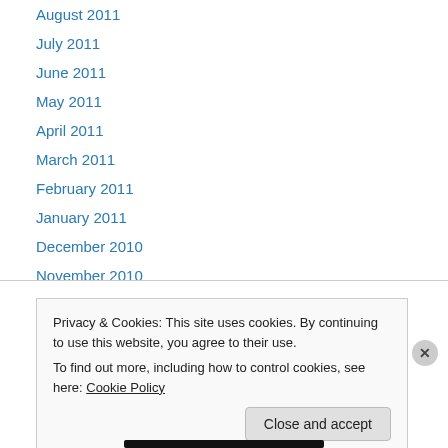August 2011
July 2011
June 2011
May 2011
April 2011
March 2011
February 2011
January 2011
December 2010
November 2010
October 2010
Privacy & Cookies: This site uses cookies. By continuing to use this website, you agree to their use. To find out more, including how to control cookies, see here: Cookie Policy
Close and accept